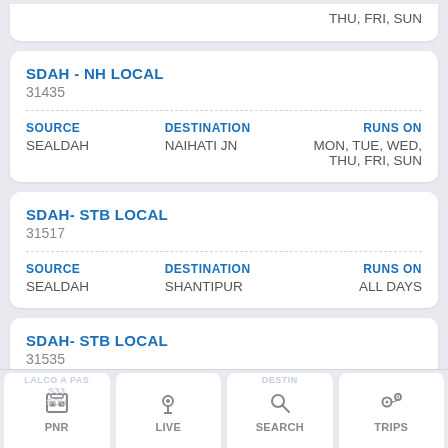THU, FRI, SUN
SDAH - NH LOCAL
31435
SOURCE: SEALDAH | DESTINATION: NAIHATI JN | RUNS ON: MON, TUE, WED, THU, FRI, SUN
SDAH- STB LOCAL
31517
SOURCE: SEALDAH | DESTINATION: SHANTIPUR | RUNS ON: ALL DAYS
SDAH- STB LOCAL
31535
SOURCE: SEALDAH | DESTINATION: SHANTIPUR | RUNS ON: ALL DAYS
PNR | LIVE | SEARCH | TRIPS